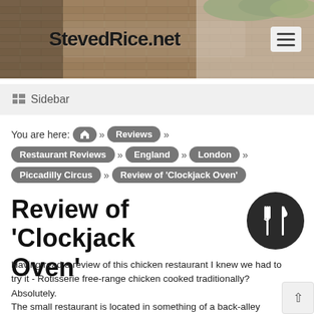[Figure (screenshot): Website header banner for stevedRice.net showing a person against a brick wall background with foliage, with the site logo text 'stevedRice.net' and a hamburger menu button]
≡ Sidebar
You are here: 🏠 » Reviews » Restaurant Reviews » England » London » Piccadilly Circus » Review of 'Clockjack Oven'
Review of 'Clockjack Oven'
Having read a review of this chicken restaurant I knew we had to try it - Rotisserie free-range chicken cooked traditionally? Absolutely.
The small restaurant is located in something of a back-alley around